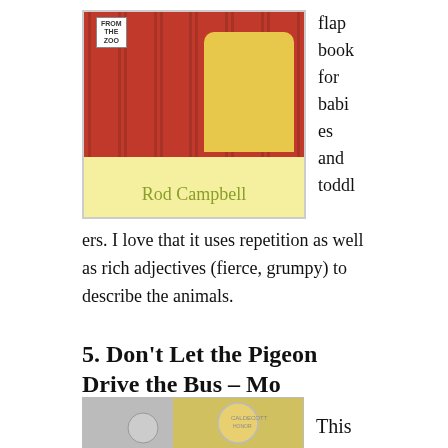[Figure (illustration): Book cover of 'Dear Zoo' by Rod Campbell showing a red fence/zoo enclosure with a yellow animal peeking through, on a yellow background with the author name 'Rod Campbell' in green text]
flap book for babies and toddlers. I love that it uses repetition as well as rich adjectives (fierce, grumpy) to describe the animals.
5. Don't Let the Pigeon Drive the Bus – Mo Willems (2003)
[Figure (illustration): Partial view of book cover for 'Don't Let the Pigeon Drive the Bus' by Mo Willems]
This